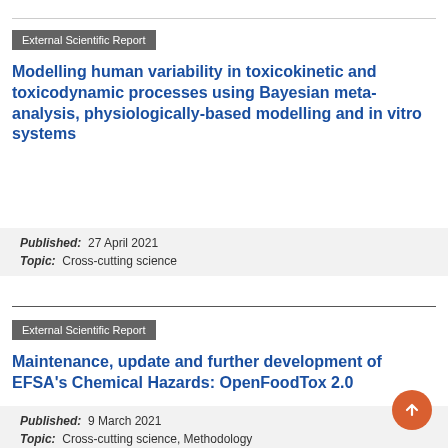External Scientific Report
Modelling human variability in toxicokinetic and toxicodynamic processes using Bayesian meta-analysis, physiologically-based modelling and in vitro systems
Published: 27 April 2021
Topic: Cross-cutting science
External Scientific Report
Maintenance, update and further development of EFSA's Chemical Hazards: OpenFoodTox 2.0
Published: 9 March 2021
Topic: Cross-cutting science, Methodology